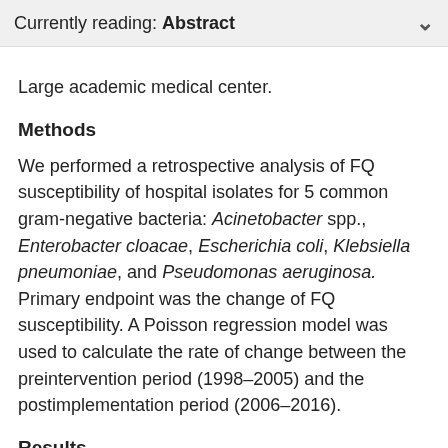Currently reading: Abstract
Large academic medical center.
Methods
We performed a retrospective analysis of FQ susceptibility of hospital isolates for 5 common gram-negative bacteria: Acinetobacter spp., Enterobacter cloacae, Escherichia coli, Klebsiella pneumoniae, and Pseudomonas aeruginosa. Primary endpoint was the change of FQ susceptibility. A Poisson regression model was used to calculate the rate of change between the preintervention period (1998–2005) and the postimplementation period (2006–2016).
Results
Large rates of decline of FQ susceptibility began in 1998, particularly among P. aeruginosa, Acinetobacter